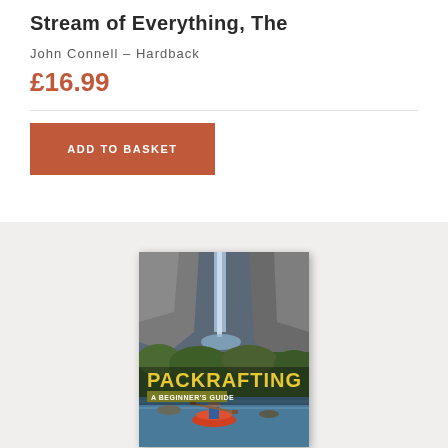Stream of Everything, The
John Connell – Hardback
£16.99
ADD TO BASKET
[Figure (photo): Book cover of 'Packrafting: A Beginner's Guide' showing a person paddling a packraft through a rocky canyon with waterfalls and lush green vegetation. The title 'PACKRAFTING' is in large yellow text with 'A BEGINNER'S GUIDE' in a dark bar below.]